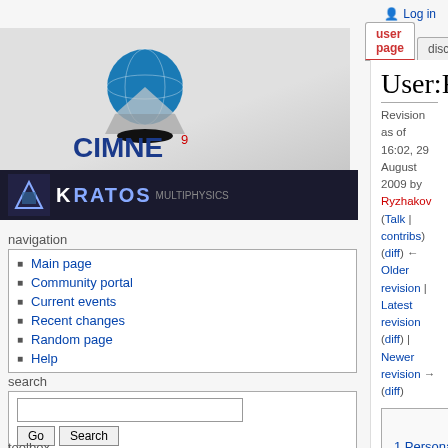Log in
user page | discussion | view source | h
[Figure (logo): CIMNE logo with blue globe and grid pyramid graphic, with red superscript 9]
[Figure (logo): Kratos Multiphysics logo on dark background]
navigation
Main page
Community portal
Current events
Recent changes
Random page
Help
search
toolbox
What links here
Related changes
User contributions
User:Ryzhakov
Revision as of 16:02, 29 August 2009 by Ryzhakov (Talk | contribs)
(diff) ← Older revision | Latest revision (diff) | Newer revision → (diff)
| Contents [hide] |
| 1 Personal information: |
| 2 Education: |
| 3 Additional trainings: |
| 4 Extracurricular activities during University Education: |
| 5 Publications: |
| 6 Projects with industry: |
| 7 Theses: |
| 8 Scholarships/awards: |
| 9 Professional Interests: |
| 10 Personal Interests: |
| 11 Hobbies: |
Personal information: